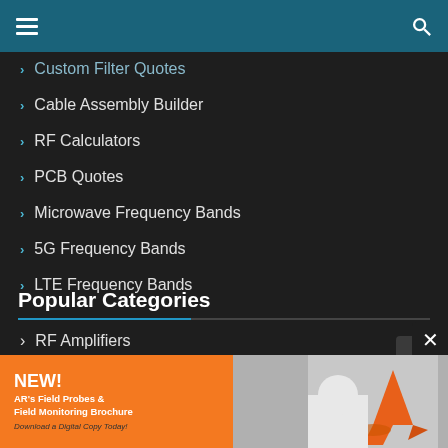Navigation bar with hamburger menu and search icon
Custom Filter Quotes
Cable Assembly Builder
RF Calculators
PCB Quotes
Microwave Frequency Bands
5G Frequency Bands
LTE Frequency Bands
Popular Categories
RF Amplifiers
Power Dividers
SATCOM Products
Test & Measurement
[Figure (screenshot): Advertisement banner for AR's Field Probes & Field Monitoring Brochure with orange background and antenna image]